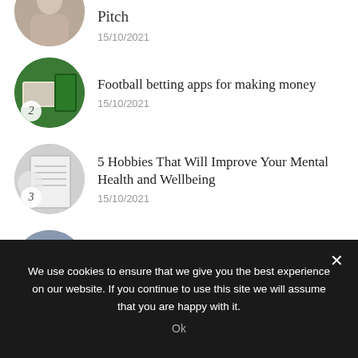Pitch — 15/10/2021
Football betting apps for making money — 15/10/2021
5 Hobbies That Will Improve Your Mental Health and Wellbeing — 15/10/2021
Tips To Help You Choose the Right Website Designer For Your Business — 15/10/2021
We use cookies to ensure that we give you the best experience on our website. If you continue to use this site we will assume that you are happy with it.
Ok